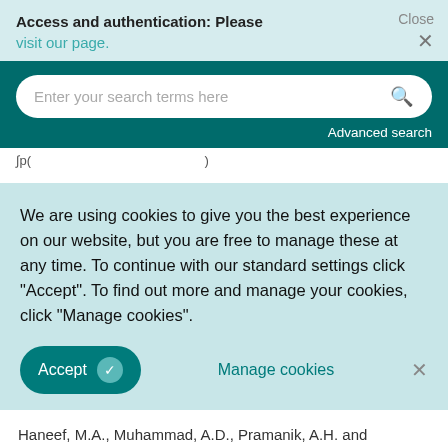Access and authentication: Please visit our page.
[Figure (screenshot): Search bar with placeholder text 'Enter your search terms here' and a search icon, on a dark teal background with 'Advanced search' link below]
We are using cookies to give you the best experience on our website, but you are free to manage these at any time. To continue with our standard settings click "Accept". To find out more and manage your cookies, click "Manage cookies".
Accept   Manage cookies   ×
Haneef, M.A., Muhammad, A.D., Pramanik, A.H. and